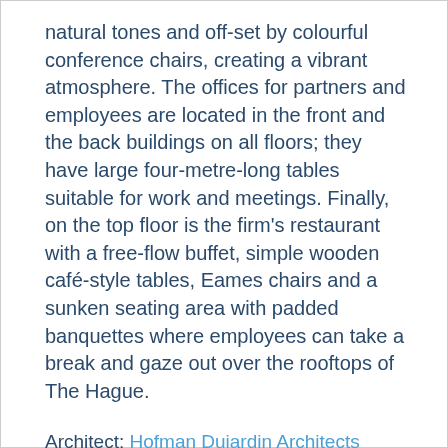natural tones and off-set by colourful conference chairs, creating a vibrant atmosphere. The offices for partners and employees are located in the front and the back buildings on all floors; they have large four-metre-long tables suitable for work and meetings. Finally, on the top floor is the firm's restaurant with a free-flow buffet, simple wooden café-style tables, Eames chairs and a sunken seating area with padded banquettes where employees can take a break and gaze out over the rooftops of The Hague.
Architect: Hofman Dujardin Architects
Photography: Matthijs van Roon